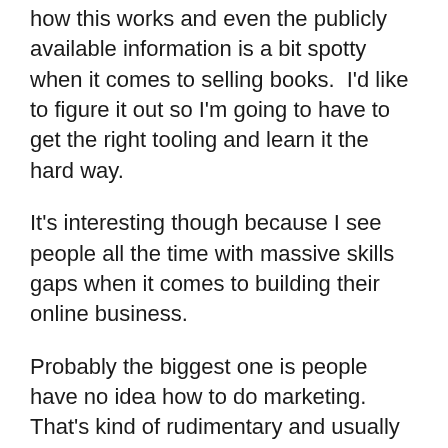how this works and even the publicly available information is a bit spotty when it comes to selling books.  I'd like to figure it out so I'm going to have to get the right tooling and learn it the hard way.
It's interesting though because I see people all the time with massive skills gaps when it comes to building their online business.
Probably the biggest one is people have no idea how to do marketing.  That's kind of rudimentary and usually manifests itself with people saying, “I just want to make products and do what I'm good at.”